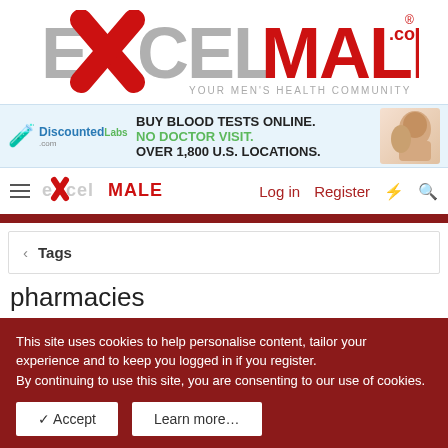[Figure (logo): ExcelMale.com logo with red X, grey MALE text and tagline YOUR MEN'S HEALTH COMMUNITY]
[Figure (infographic): DiscountedLabs ad banner: BUY BLOOD TESTS ONLINE. NO DOCTOR VISIT. OVER 1,800 U.S. LOCATIONS.]
ExcelMale Log in Register
< Tags
pharmacies
This site uses cookies to help personalise content, tailor your experience and to keep you logged in if you register.
By continuing to use this site, you are consenting to our use of cookies.
✓ Accept
Learn more…